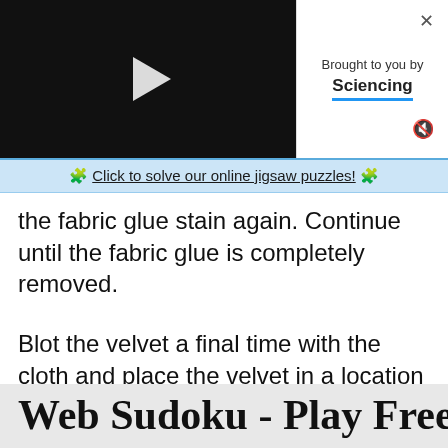[Figure (screenshot): Video player with black background and white play button triangle]
Brought to you by Sciencing
🧩 Click to solve our online jigsaw puzzles! 🧩
the fabric glue stain again. Continue until the fabric glue is completely removed.
Blot the velvet a final time with the cloth and place the velvet in a location with good air circulation to dry.
REFERENCES   WRITER BIO   RELATED ARTICLE
Web Sudoku - Play Free